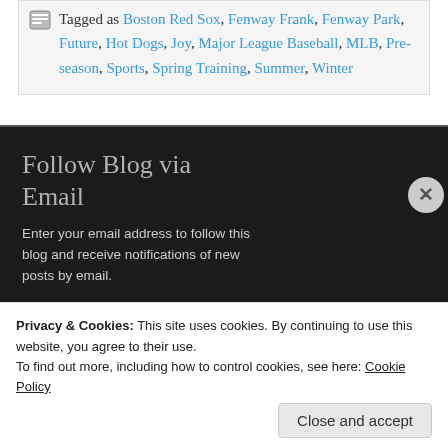Tagged as Boston Red Sox, Fenway Frank, Fenway Park, Future, Hot Dogs, Joy, Major League Baseball, MLB, Pre-season, Sports, Spring Training, Summer, Winter
Follow Blog via Email
Enter your email address to follow this blog and receive notifications of new posts by email.
Email Address
Privacy & Cookies: This site uses cookies. By continuing to use this website, you agree to their use.
To find out more, including how to control cookies, see here: Cookie Policy
Close and accept